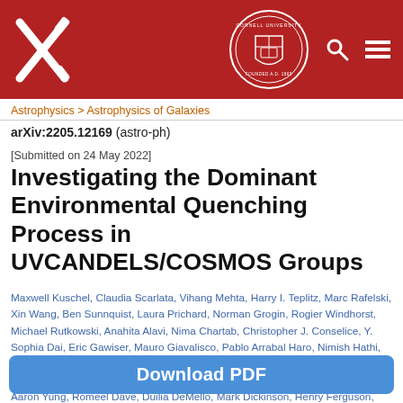[Figure (logo): arXiv and Cornell University header bar with logos, search and menu icons on dark red background]
Astrophysics > Astrophysics of Galaxies
arXiv:2205.12169 (astro-ph)
[Submitted on 24 May 2022]
Investigating the Dominant Environmental Quenching Process in UVCANDELS/COSMOS Groups
Maxwell Kuschel, Claudia Scarlata, Vihang Mehta, Harry I. Teplitz, Marc Rafelski, Xin Wang, Ben Sunnquist, Laura Prichard, Norman Grogin, Rogier Windhorst, Michael Rutkowski, Anahita Alavi, Nima Chartab, Christopher J. Conselice, Y. Sophia Dai, Eric Gawiser, Mauro Giavalisco, Pablo Arrabal Haro, Nimish Hathi, Rolf Jansen, Zhiyuan Ji, Anton Koekemoer, Ray A. Lucas, Kameswara Mantha, Bahram Mobasher, Robert W. O'Connell, Brant Robertson, Zahra Sattari, L. Y. Aaron Yung, Romeel Dave, Duilia DeMello, Mark Dickinson, Henry Ferguson, Steven L. Finkelstein, Matt Hayes, Justin Howell, Sugata Kaviraj, John W. Mackenty, Brian Siana
Download PDF